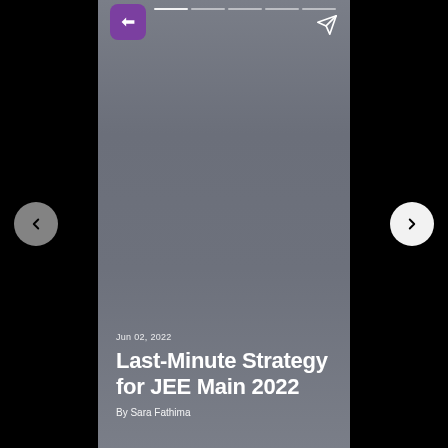[Figure (screenshot): Mobile story-style article card with gradient grey background, purple logo icon top-left, send icon top-right, progress bar segments at top, navigation arrows on sides, date, title, and author at bottom.]
Jun 02, 2022
Last-Minute Strategy for JEE Main 2022
By Sara Fathima